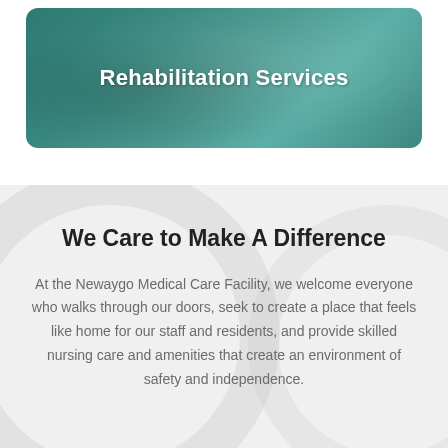[Figure (photo): Medical/rehabilitation banner image with teal/green overlay background and medical staff figures visible beneath]
Rehabilitation Services
We Care to Make A Difference
At the Newaygo Medical Care Facility, we welcome everyone who walks through our doors, seek to create a place that feels like home for our staff and residents, and provide skilled nursing care and amenities that create an environment of safety and independence.